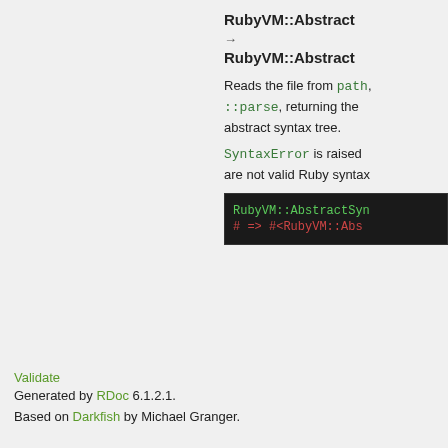RubyVM::Abstract...
→
RubyVM::Abstract...
Reads the file from path, calling ::parse, returning the abstract syntax tree.
SyntaxError is raised ... are not valid Ruby syntax...
[Figure (screenshot): Dark code block showing RubyVM::AbstractSyn... and # => #<RubyVM::Abs... in monospace green and red text on dark background]
Validate
Generated by RDoc 6.1.2.1.
Based on Darkfish by Michael Granger.